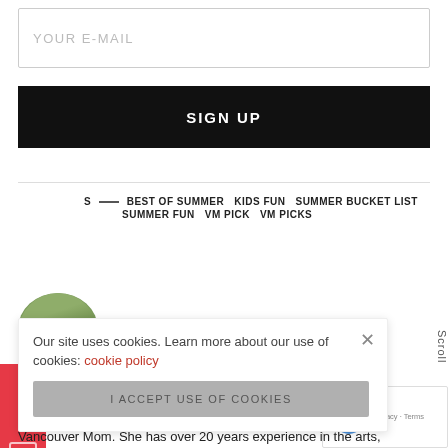YOUR E-MAIL
SIGN UP
BEST OF SUMMER    KIDS FUN    SUMMER BUCKET LIST    SUMMER FUN    VM PICK    VM PICKS
[Figure (photo): Circular avatar photo of a person outdoors with greenery background]
Our site uses cookies. Learn more about our use of cookies: cookie policy
I ACCEPT USE OF COOKIES
Manager
Vancouver Mom. She has over 20 years experience in the arts,